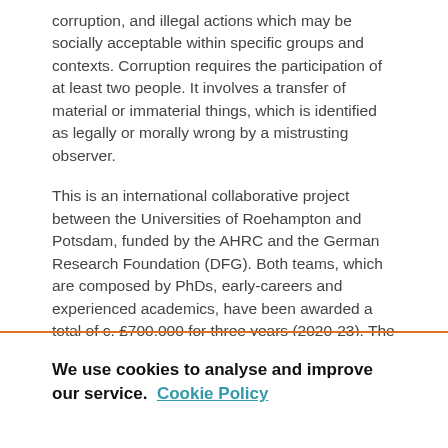corruption, and illegal actions which may be socially acceptable within specific groups and contexts. Corruption requires the participation of at least two people. It involves a transfer of material or immaterial things, which is identified as legally or morally wrong by a mistrusting observer.
This is an international collaborative project between the Universities of Roehampton and Potsdam, funded by the AHRC and the German Research Foundation (DFG). Both teams, which are composed by PhDs, early-careers and experienced academics, have been awarded a total of c. £700,000 for three years (2020-23). The project analyses the different forms of transfer using identifiers from the social sciences and anthropology. The project's aim is to understand why and how these forms of transfer could be (and are) presented in discourse as "twisted" and, therefore, as acts of corruption. As discourse, the "twisted transfer" is embedded in normative values and ideals of correct behaviour, as well as in stereotypes
We use cookies to analyse and improve our service. Cookie Policy